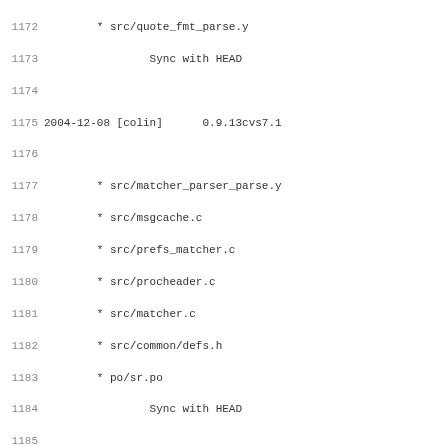Changelog / version control log entries from lines 1172 to 1203, showing dates, authors, version numbers, and file changes
1172        * src/quote_fmt_parse.y
1173                Sync with HEAD
1174
1175 2004-12-08 [colin]      0.9.13cvs7.1
1176
1177        * src/matcher_parser_parse.y
1178        * src/msgcache.c
1179        * src/prefs_matcher.c
1180        * src/procheader.c
1181        * src/matcher.c
1182        * src/common/defs.h
1183        * po/sr.po
1184                Sync with HEAD
1185
1186 2004-12-08 [colin]      0.9.13cvs6.1
1187
1188        * src/quote_fmt_parse.y
1189        * src/textview.c
1190                Sync with HEAD
1191        * src/gtk/prefswindow.c
1192        * src/gtk/pluginwindow.c
1193                Fix G_CALLBACKS protos (thanks to Alfor
1194
1195 2004-12-07 [torte]      0.9.13cvs2.2
1196
1197        * src/procmime.c
1198                [Bug 650] reply button causes crash
1199                Thanks to David Relson and Christoph
1200
1201 2004-12-07 [colin]      0.9.13cvs2.1
1202
1203        * ChangeLog.claws